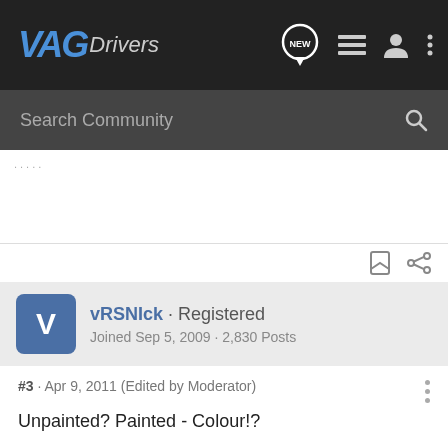VAGDrivers
Search Community
.....
vRSNIck · Registered
Joined Sep 5, 2009 · 2,830 Posts
#3 · Apr 9, 2011 (Edited by Moderator)
Unpainted? Painted - Colour!?